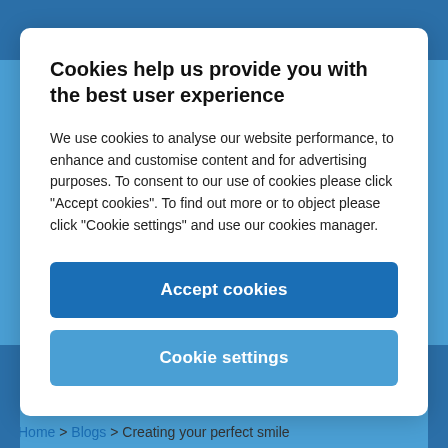Cookies help us provide you with the best user experience
We use cookies to analyse our website performance, to enhance and customise content and for advertising purposes. To consent to our use of cookies please click “Accept cookies”. To find out more or to object please click “Cookie settings” and use our cookies manager.
Accept cookies
Cookie settings
Home > Blogs > Creating your perfect smile